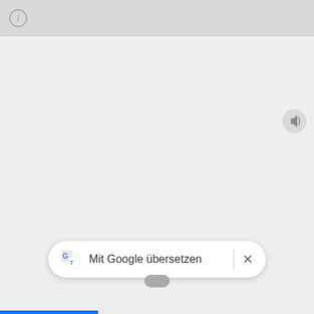[Figure (screenshot): Screenshot of a mobile browser UI showing a Google Translate popup bar at the bottom with text 'Mit Google übersetzen', an info icon (circled i) in the top-left, a speaker/volume icon in the top-right area, a blue progress bar at the bottom-left, and a drag handle below the translate bar.]
Mit Google übersetzen